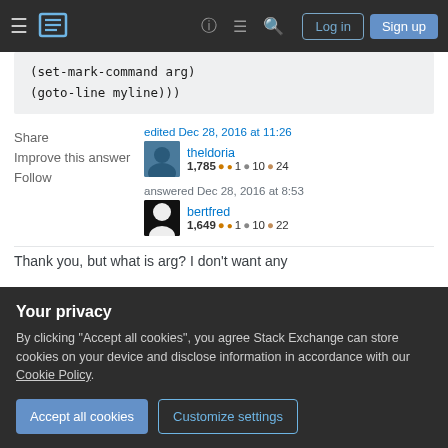Stack Exchange navigation bar with Log in and Sign up buttons
(set-mark-command arg)
(goto-line myline)))
Share
Improve this answer
Follow
edited Dec 28, 2016 at 11:26
theldoria
1,785 ()1 ()10 ()24
answered Dec 28, 2016 at 8:53
bertfred
1,649 ()1 ()10 ()22
Thank you, but what is arg? I don't want any
Your privacy
By clicking "Accept all cookies", you agree Stack Exchange can store cookies on your device and disclose information in accordance with our Cookie Policy.
Accept all cookies
Customize settings